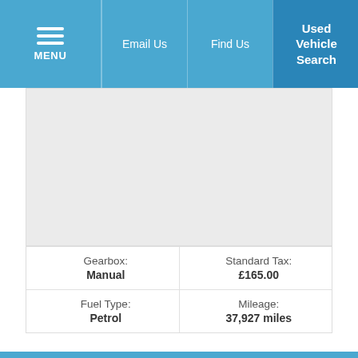MENU | Email Us | Find Us | Used Vehicle Search
[Figure (photo): Car image placeholder area (light grey background)]
| Gearbox: Manual | Standard Tax: £165.00 |
| Fuel Type: Petrol | Mileage: 37,927 miles |
2018 (18) Peugeot 3008
1.2 5dr Active S/S
£14,499